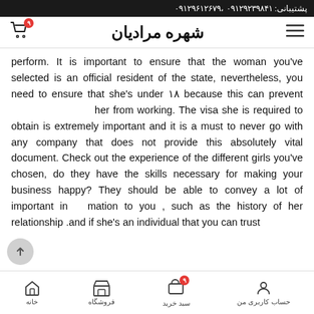پشتیبانی: ۰۹۱۲۹۲۳۹۸۴۱ ،۰۹۱۲۹۶۱۲۶۷۹
شهره مرادیان
perform. It is important to ensure that the woman you've selected is an official resident of the state, nevertheless, you need to ensure that she's under ۱۸ because this can prevent                               her from working. The visa she is required to obtain is extremely important and it is a must to never go with any company that does not provide this absolutely vital document. Check out the experience of the different girls you've chosen, do they have the skills necessary for making your business happy? They should be able to convey a lot of important information to you , such as the history of her relationship and if she's an individual that you can trust
خانه | فروشگاه | سبد خرید | حساب کاربری من